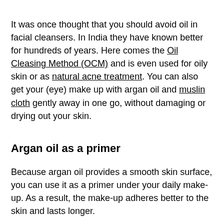It was once thought that you should avoid oil in facial cleansers. In India they have known better for hundreds of years. Here comes the Oil Cleasing Method (OCM) and is even used for oily skin or as natural acne treatment. You can also get your (eye) make up with argan oil and muslin cloth gently away in one go, without damaging or drying out your skin.
Argan oil as a primer
Because argan oil provides a smooth skin surface, you can use it as a primer under your daily make-up. As a result, the make-up adheres better to the skin and lasts longer.
In other words, argan oil for the face is the perfect addition or replacement to your skin care routine!
Be careful if you have a nut allergy. In that case, your skin